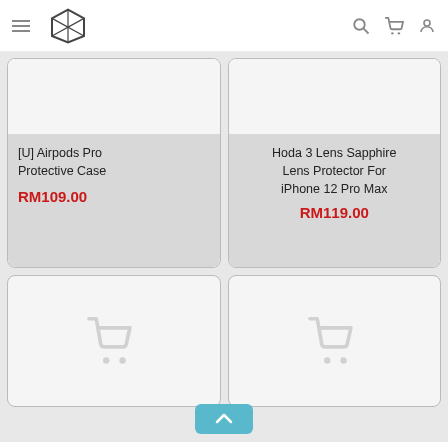TJM Products navigation header with hamburger menu, logo, search, cart, and account icons
[U] Airpods Pro Protective Case
RM109.00
Hoda 3 Lens Sapphire Lens Protector For iPhone 12 Pro Max
RM119.00
[Figure (screenshot): Empty product card with shopping cart placeholder icon]
[Figure (screenshot): Empty product card with shopping cart placeholder icon]